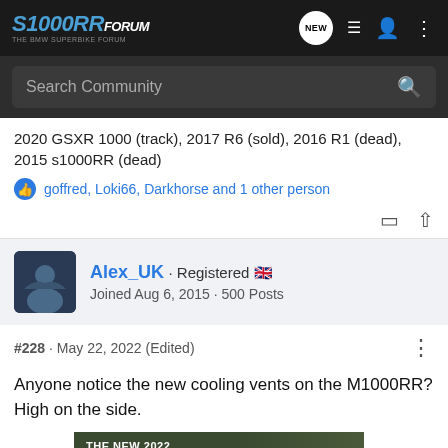[Figure (screenshot): S1000RR Forum logo and navigation bar with search bar]
2020 GSXR 1000 (track), 2017 R6 (sold), 2016 R1 (dead), 2015 s1000RR (dead)
goffred, Loki66, Darkhorse and 1 other person
Alex_UK · Registered 🇬🇧
Joined Aug 6, 2015 · 500 Posts
#228 · May 22, 2022 (Edited)
Anyone notice the new cooling vents on the M1000RR? High on the side.
[Figure (screenshot): Chevrolet Silverado 2022 advertisement banner]
Can't fi... erent on the b...